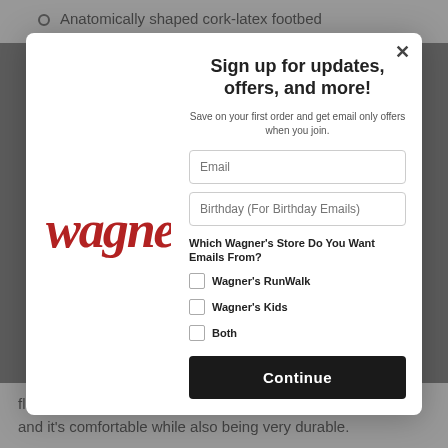Anatomically shaped cork-latex footbed
[Figure (logo): Wagner's script logo in red/dark red cursive font]
Sign up for updates, offers, and more!
Save on your first order and get email only offers when you join.
Email
Birthday (For Birthday Emails)
Which Wagner's Store Do You Want Emails From?
Wagner's RunWalk
Wagner's Kids
Both
Continue
fleece. This high-quality material is very gentle on the skin, and it's comfortable while also being very durable.